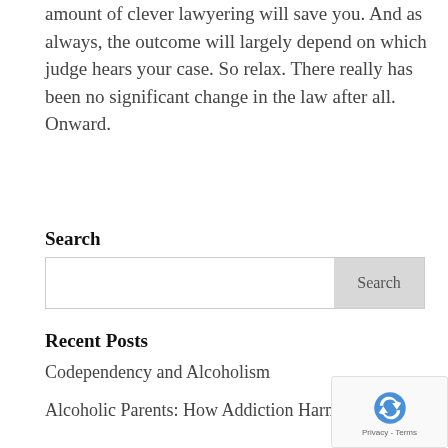amount of clever lawyering will save you. And as always, the outcome will largely depend on which judge hears your case. So relax. There really has been no significant change in the law after all. Onward.
Search
[Search input box with Search button]
Recent Posts
Codependency and Alcoholism
Alcoholic Parents: How Addiction Harms Kids